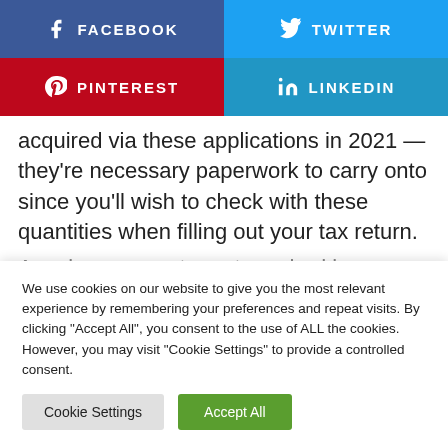[Figure (infographic): Social share buttons row 1: Facebook (blue) and Twitter (light blue)]
[Figure (infographic): Social share buttons row 2: Pinterest (red) and LinkedIn (blue)]
acquired via these applications in 2021 — they're necessary paperwork to carry onto since you'll wish to check with these quantities when filling out your tax return.
A serious cause tax returns had been delayed in
We use cookies on our website to give you the most relevant experience by remembering your preferences and repeat visits. By clicking "Accept All", you consent to the use of ALL the cookies. However, you may visit "Cookie Settings" to provide a controlled consent.